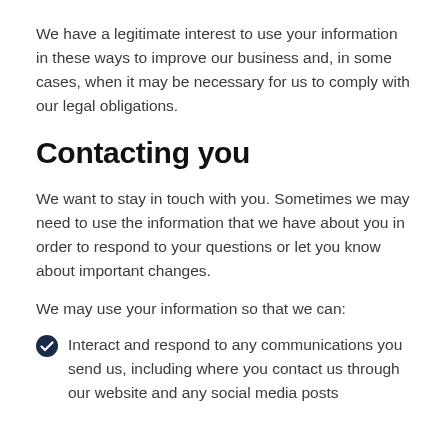We have a legitimate interest to use your information in these ways to improve our business and, in some cases, when it may be necessary for us to comply with our legal obligations.
Contacting you
We want to stay in touch with you. Sometimes we may need to use the information that we have about you in order to respond to your questions or let you know about important changes.
We may use your information so that we can:
Interact and respond to any communications you send us, including where you contact us through our website and any social media posts